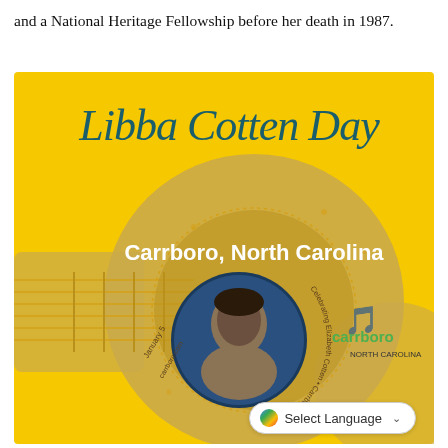and a National Heritage Fellowship before her death in 1987.
[Figure (illustration): Libba Cotten Day promotional poster from Carrboro, North Carolina. Yellow background with a guitar illustration. Text reads 'Libba Cotten Day' in teal cursive script. 'Carrboro, North Carolina' in white bold text on a tan/gold circle. A circular medallion in the center shows a portrait of Elizabeth Cotten with text 'Celebrating Elizabeth Cotten · Carrboro Folk Sur...' around the edge. The Carrboro logo appears in the lower right. Dotted decorative elements throughout.]